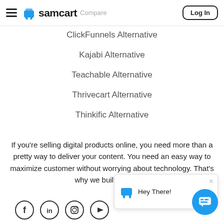samcart — Compare — Log In
ClickFunnels Alternative
Kajabi Alternative
Teachable Alternative
Thrivecart Alternative
Thinkific Alternative
If you're selling digital products online, you need more than a pretty way to deliver your content. You need an easy way to maximize customer without worrying about technology. That's why we built SamCart.
[Figure (screenshot): Chat popup with SamCart logo icon and 'Hey There!' greeting text with close button]
[Figure (illustration): Row of social media icons: Facebook, LinkedIn, Instagram, YouTube, each in a circle]
[Figure (illustration): Blue circular chat support button in bottom right corner]